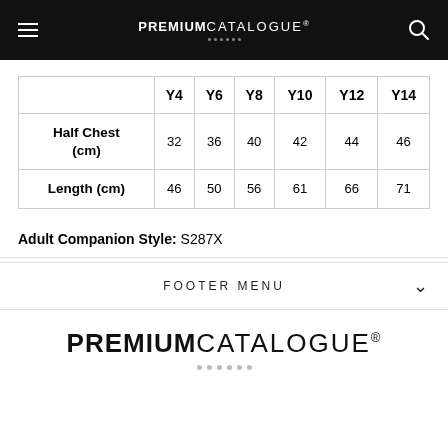PREMIUM CATALOGUE
|  | Y4 | Y6 | Y8 | Y10 | Y12 | Y14 |
| --- | --- | --- | --- | --- | --- | --- |
| Half Chest (cm) | 32 | 36 | 40 | 42 | 44 | 46 |
| Length (cm) | 46 | 50 | 56 | 61 | 66 | 71 |
Adult Companion Style: S287X
FOOTER MENU
PREMIUM CATALOGUE